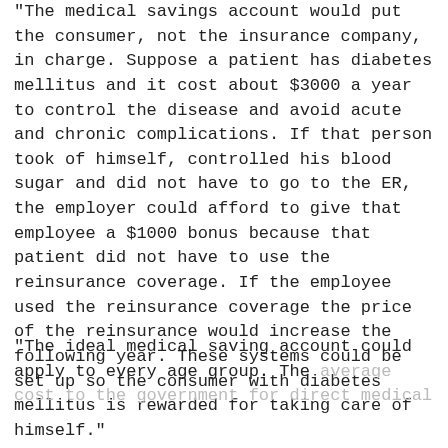“The medical savings account would put the consumer, not the insurance company, in charge. Suppose a patient has diabetes mellitus and it cost about $3000 a year to control the disease and avoid acute and chronic complications. If that person took of himself, controlled his blood sugar and did not have to go to the ER, the employer could afford to give that employee a $1000 bonus because that patient did not have to use the reinsurance coverage. If the employee used the reinsurance coverage the price of the reinsurance would increase the following year. These systems could be set up so the consumer with diabetes mellitus is rewarded for taking care of himself.”
“The ideal medical saving account could apply to every age group. The average cost to the government for direct medical…